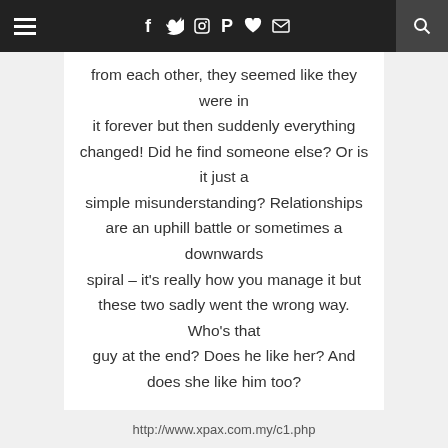Navigation bar with hamburger menu, social icons (Facebook, Twitter, Instagram, Pinterest, Heart, Mail), and search
from each other, they seemed like they were in it forever but then suddenly everything changed! Did he find someone else? Or is it just a simple misunderstanding? Relationships are an uphill battle or sometimes a downwards spiral – it's really how you manage it but these two sadly went the wrong way. Who's that guy at the end? Does he like her? And does she like him too?
http://www.xpax.com.my/c1.php